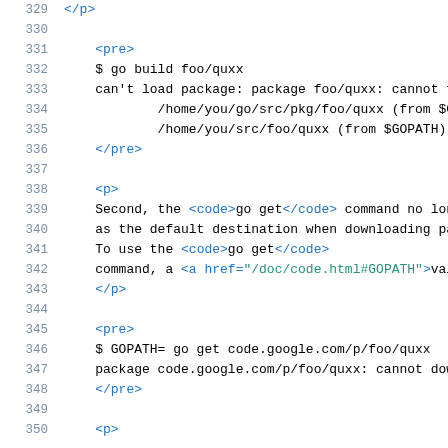Source code listing lines 329-350 showing HTML markup with pre and p tags, go build commands, and GOPATH examples